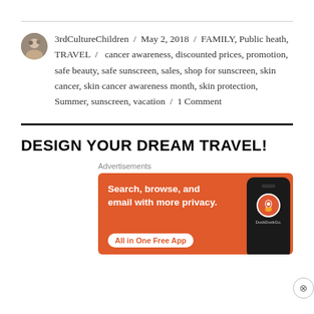3rdCultureChildren / May 2, 2018 / FAMILY, Public heath, TRAVEL / cancer awareness, discounted prices, promotion, safe beauty, safe sunscreen, sales, shop for sunscreen, skin cancer, skin cancer awareness month, skin protection, Summer, sunscreen, vacation / 1 Comment
DESIGN YOUR DREAM TRAVEL!
[Figure (infographic): DuckDuckGo advertisement banner: orange background with text 'Search, browse, and email with more privacy. All in One Free App' and a phone showing DuckDuckGo logo]